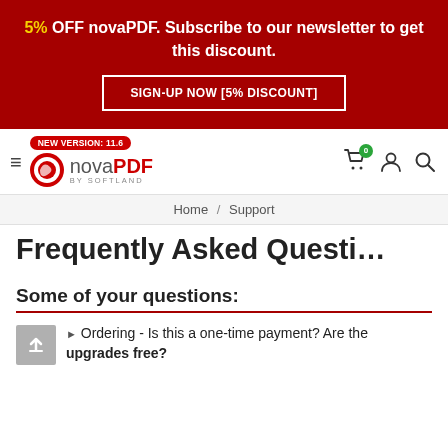5% OFF novaPDF. Subscribe to our newsletter to get this discount.
SIGN-UP NOW [5% DISCOUNT]
[Figure (logo): novaPDF by Softland logo with red circular icon and 'NEW VERSION: 11.6' badge]
Home / Support
Frequently Asked Questi…
Some of your questions:
Ordering - Is this a one-time payment? Are the upgrades free?